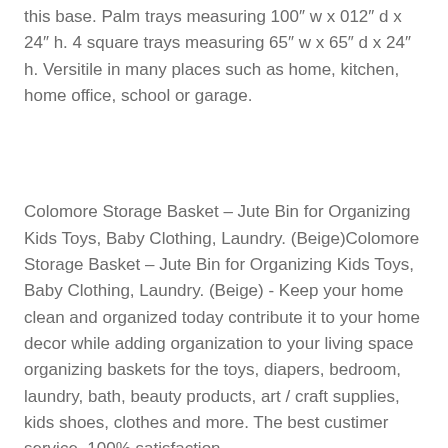this base. Palm trays measuring 100" w x 012" d x 24" h. 4 square trays measuring 65" w x 65" d x 24" h. Versitile in many places such as home, kitchen, home office, school or garage.
Colomore Storage Basket – Jute Bin for Organizing Kids Toys, Baby Clothing, Laundry. (Beige)Colomore Storage Basket – Jute Bin for Organizing Kids Toys, Baby Clothing, Laundry. (Beige) - Keep your home clean and organized today contribute it to your home decor while adding organization to your living space organizing baskets for the toys, diapers, bedroom, laundry, bath, beauty products, art / craft supplies, kids shoes, clothes and more. The best custimer service, 100% satisfaction